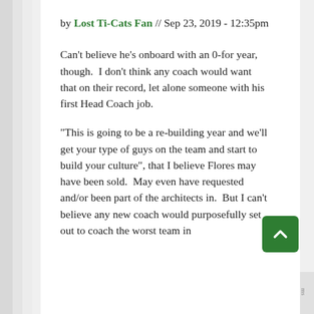by Lost Ti-Cats Fan // Sep 23, 2019 - 12:35pm
Can't believe he's onboard with an 0-for year, though.  I don't think any coach would want that on their record, let alone someone with his first Head Coach job.
"This is going to be a re-building year and we'll get your type of guys on the team and start to build your culture", that I believe Flores may have been sold.  May even have requested and/or been part of the architects in.  But I can't believe any new coach would purposefully set out to coach the worst team in